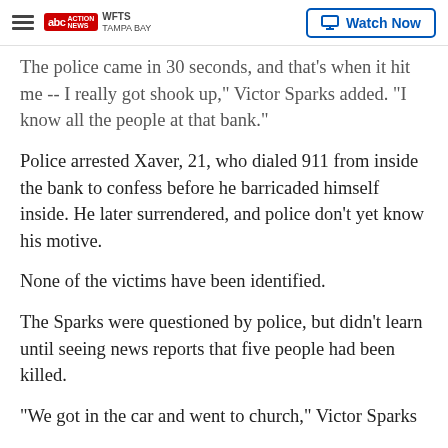WFTS Tampa Bay | Watch Now
The police came in 30 seconds, and that's when it hit me -- I really got shook up," Victor Sparks added. "I know all the people at that bank."
Police arrested Xaver, 21, who dialed 911 from inside the bank to confess before he barricaded himself inside. He later surrendered, and police don't yet know his motive.
None of the victims have been identified.
The Sparks were questioned by police, but didn't learn until seeing news reports that five people had been killed.
"We got in the car and went to church," Victor Sparks